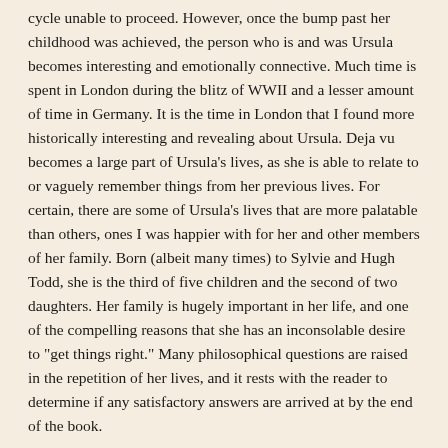cycle unable to proceed.  However, once the bump past her childhood was achieved, the person who is and was Ursula becomes interesting and emotionally connective.  Much time is spent in London during the blitz of WWII and a lesser amount of time in Germany.  It is the time in London that I found more historically interesting and revealing about Ursula.  Deja vu becomes a large part of Ursula's lives, as she is able to relate to or vaguely remember things from her previous lives.  For certain, there are some of Ursula's lives that are more palatable than others, ones I was happier with for her and other members of her family.  Born (albeit many times) to Sylvie and Hugh Todd, she is the third of five children and the second of two daughters.  Her family is hugely important in her life, and one of the compelling reasons that she has an inconsolable desire to "get things right."  Many philosophical questions are raised in the repetition of her lives, and it rests with the reader to determine if any satisfactory answers are arrived at by the end of the book.
I was completely immersed in this novel and its revolving door presentation.  Although the atmosphere of it was mostly dark, there were bits of humor interspersed that helped round out an existence that was temporal at best.  The ending was somewhat less than